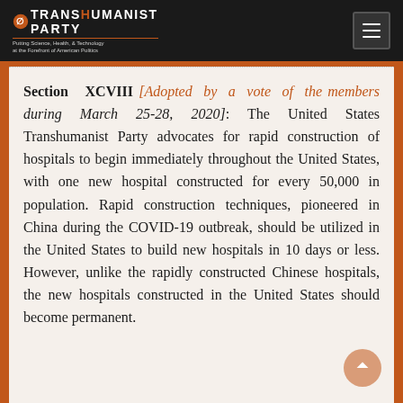TRANSHUMANIST PARTY — Putting Science, Health, & Technology at the Forefront of American Politics
Section XCVIII [Adopted by a vote of the members during March 25-28, 2020]: The United States Transhumanist Party advocates for rapid construction of hospitals to begin immediately throughout the United States, with one new hospital constructed for every 50,000 in population. Rapid construction techniques, pioneered in China during the COVID-19 outbreak, should be utilized in the United States to build new hospitals in 10 days or less. However, unlike the rapidly constructed Chinese hospitals, the new hospitals constructed in the United States should become permanent.